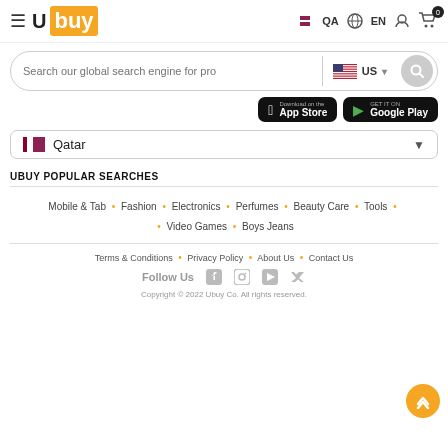[Figure (logo): Ubuy logo with hamburger menu icon]
[Figure (screenshot): Search bar with 'Search our global search engine for pro' placeholder, US flag dropdown, and search button]
[Figure (screenshot): App Store and Google Play download buttons]
[Figure (screenshot): Qatar country selector dropdown]
UBUY POPULAR SEARCHES
Mobile & Tab • Fashion • Electronics • Perfumes • Beauty Care • Tools • Video Games • Boys Jeans
Terms & Conditions • Privacy Policy • About Us • Contact Us
Follow Us
Copyright © 2022 Ubuy Co. All rights reserved.